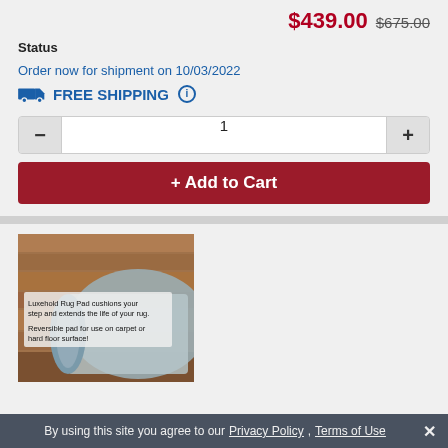$439.00 $675.00
Status
Order now for shipment on 10/03/2022
FREE SHIPPING
1
+ Add to Cart
[Figure (photo): Luxehold Rug Pad product image on hardwood floor with text: 'Luxehold Rug Pad cushions your step and extends the life of your rug. Reversible pad for use on carpet or hard floor surface!']
By using this site you agree to our Privacy Policy, Terms of Use